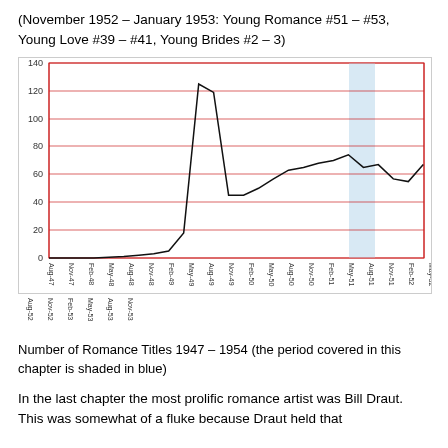(November 1952 – January 1953: Young Romance #51 – #53, Young Love #39 – #41, Young Brides #2 – 3)
[Figure (continuous-plot): Line chart showing number of romance titles from Aug-47 to Nov-53. The line starts near 0, rises sharply to a peak around 125 in Feb-50, drops to about 45 by Aug-50, then rises gradually to about 65-75 by Aug-52, with a blue shaded vertical band around Nov-52 to Jan-53, then values fluctuate between 55-65 toward end.]
Number of Romance Titles 1947 – 1954 (the period covered in this chapter is shaded in blue)
In the last chapter the most prolific romance artist was Bill Draut. This was somewhat of a fluke because Draut held that